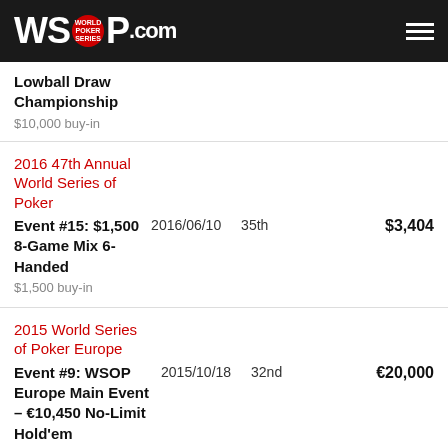WSOP.COM
Lowball Draw Championship
$10,000 buy-in
2016 47th Annual World Series of Poker
Event #15: $1,500 8-Game Mix 6-Handed
$1,500 buy-in
2016/06/10	35th	$3,404
2015 World Series of Poker Europe
Event #9: WSOP Europe Main Event – €10,450 No-Limit Hold'em
€10,450 buy-in
2015/10/18	32nd	€20,000